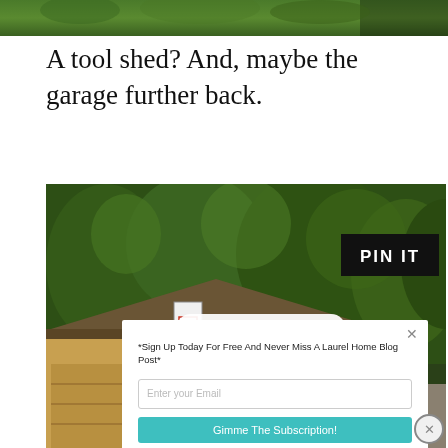[Figure (photo): Top portion of outdoor photo showing green foliage and trees, dark at right edge]
A tool shed? And, maybe the garage further back.
[Figure (photo): Photo of a detached garage with basketball hoop, surrounded by trees, with a PIN IT badge overlay and a SUMO-powered email signup popup partially overlaying the image]
*Sign Up Today For Free And Never Miss A Laurel Home Blog Post*
Enter your Email
Gimme The Subscription!